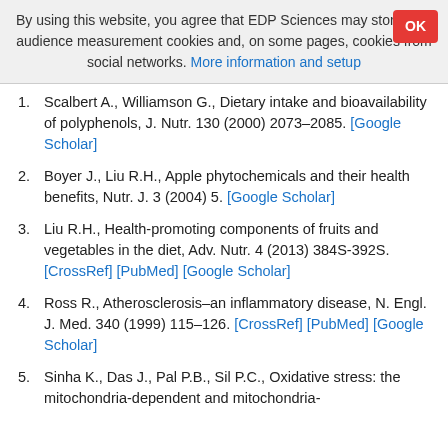By using this website, you agree that EDP Sciences may store web audience measurement cookies and, on some pages, cookies from social networks. More information and setup
1. Scalbert A., Williamson G., Dietary intake and bioavailability of polyphenols, J. Nutr. 130 (2000) 2073–2085. [Google Scholar]
2. Boyer J., Liu R.H., Apple phytochemicals and their health benefits, Nutr. J. 3 (2004) 5. [Google Scholar]
3. Liu R.H., Health-promoting components of fruits and vegetables in the diet, Adv. Nutr. 4 (2013) 384S-392S. [CrossRef] [PubMed] [Google Scholar]
4. Ross R., Atherosclerosis–an inflammatory disease, N. Engl. J. Med. 340 (1999) 115–126. [CrossRef] [PubMed] [Google Scholar]
5. Sinha K., Das J., Pal P.B., Sil P.C., Oxidative stress: the mitochondria-dependent and mitochondria-